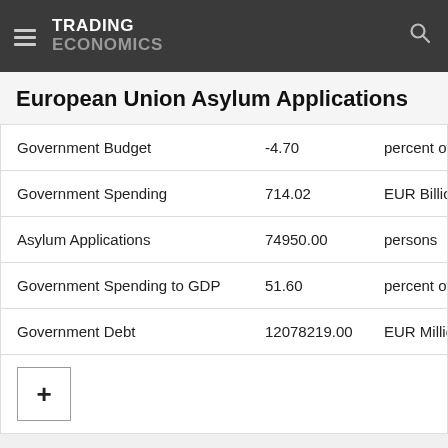TRADING ECONOMICS
European Union Asylum Applications
|  |  |  |
| --- | --- | --- |
| Government Budget | -4.70 | percent of GD |
| Government Spending | 714.02 | EUR Billion |
| Asylum Applications | 74950.00 | persons |
| Government Spending to GDP | 51.60 | percent of GD |
| Government Debt | 12078219.00 | EUR Million |
European Union Asylum Applications
Asylum Application in this page refers to first time asylum